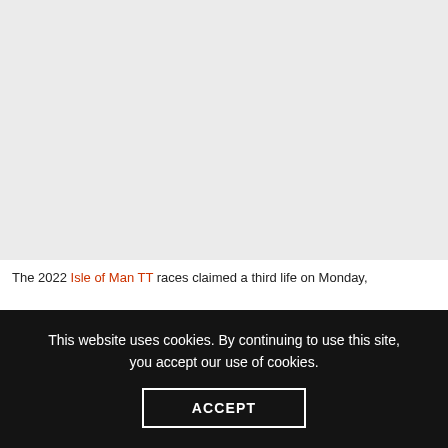[Figure (photo): Grey placeholder area representing a photograph or image at the top of the page]
The 2022 Isle of Man TT races claimed a third life on Monday,
This website uses cookies. By continuing to use this site, you accept our use of cookies.
ACCEPT